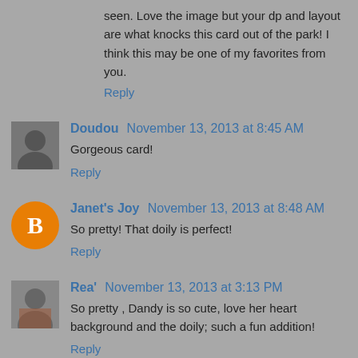seen. Love the image but your dp and layout are what knocks this card out of the park! I think this may be one of my favorites from you.
Reply
Doudou November 13, 2013 at 8:45 AM
Gorgeous card!
Reply
Janet's Joy November 13, 2013 at 8:48 AM
So pretty! That doily is perfect!
Reply
Rea' November 13, 2013 at 3:13 PM
So pretty , Dandy is so cute, love her heart background and the doily; such a fun addition!
Reply